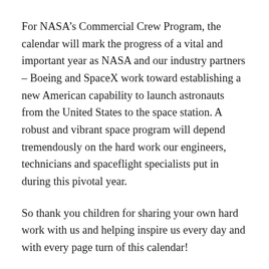For NASA's Commercial Crew Program, the calendar will mark the progress of a vital and important year as NASA and our industry partners – Boeing and SpaceX work toward establishing a new American capability to launch astronauts from the United States to the space station. A robust and vibrant space program will depend tremendously on the hard work our engineers, technicians and spaceflight specialists put in during this pivotal year.
So thank you children for sharing your own hard work with us and helping inspire us every day and with every page turn of this calendar!